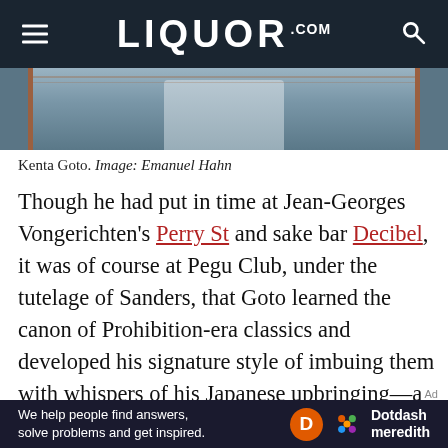LIQUOR.COM
[Figure (photo): Partial photo of a person at a bar, showing upper body from behind, wearing a light grey jacket. Wooden bar visible.]
Kenta Goto. Image: Emanuel Hahn
Though he had put in time at Jean-Georges Vongerichten's Perry St and sake bar Decibel, it was of course at Pegu Club, under the tutelage of Sanders, that Goto learned the canon of Prohibition-era classics and developed his signature style of imbuing them with whispers of his Japanese upbringing—a motif that was integral in Bar Goto's success. Take for example the now-iconic Sakura
[Figure (logo): Dotdash Meredith advertisement banner. Text: We help people find answers, solve problems and get inspired. Orange D circle logo and colorful hexagon with Dotdash meredith text.]